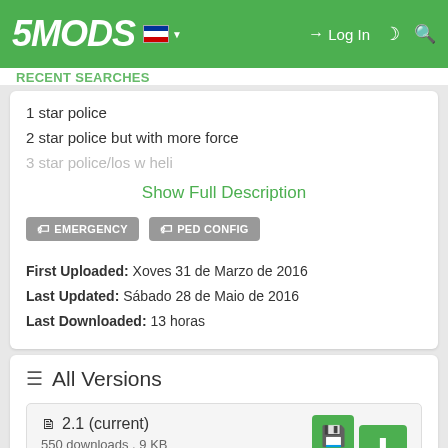5MODS — Log In
1 star police
2 star police but with more force
3 star police/los w heli
Show Full Description
EMERGENCY  PED CONFIG
First Uploaded: Xoves 31 de Marzo de 2016
Last Updated: Sábado 28 de Maio de 2016
Last Downloaded: 13 horas
All Versions
2.1 (current)
550 downloads , 9 KB
Xoves 31 de Marzo de 2016